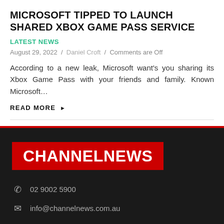MICROSOFT TIPPED TO LAUNCH SHARED XBOX GAME PASS SERVICE
LATEST NEWS
August 29, 2022 / Daniel Croft / Comments are Off
According to a new leak, Microsoft want's you sharing its Xbox Game Pass with your friends and family. Known Microsoft...
READ MORE ▶
[Figure (logo): ChannelNews logo — white bold text on red background]
02 9002 5900
info@channelnews.com.au